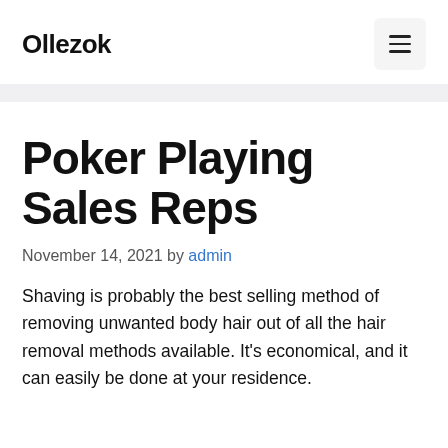Ollezok
Poker Playing Sales Reps
November 14, 2021 by admin
Shaving is probably the best selling method of removing unwanted body hair out of all the hair removal methods available. It’s economical, and it can easily be done at your residence.